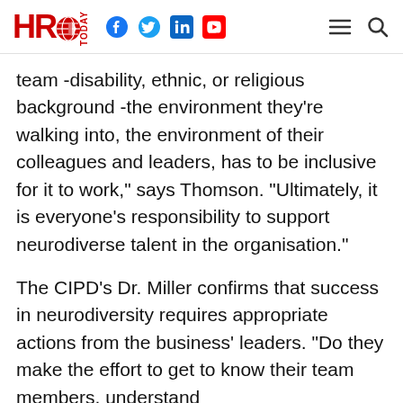HRO Today
team -disability, ethnic, or religious background -the environment they’re walking into, the environment of their colleagues and leaders, has to be inclusive for it to work,” says Thomson. “Ultimately, it is everyone’s responsibility to support neurodiverse talent in the organisation.”
The CIPD’s Dr. Miller confirms that success in neurodiversity requires appropriate actions from the business’ leaders. “Do they make the effort to get to know their team members, understand